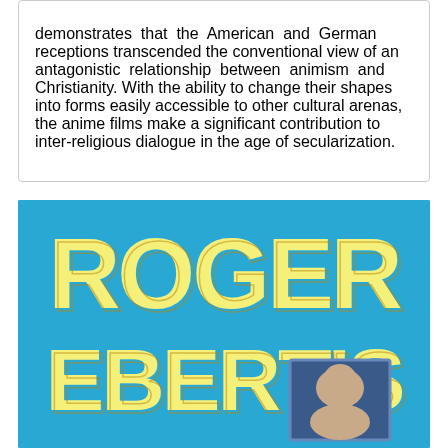demonstrates that the American and German receptions transcended the conventional view of an antagonistic relationship between animism and Christianity. With the ability to change their shapes into forms easily accessible to other cultural arenas, the anime films make a significant contribution to inter-religious dialogue in the age of secularization.
[Figure (illustration): Book cover for 'Roger Ebert's' with large yellow bold text on a bright blue background. The word ROGER appears on the first line and EBERT'S appears below it. A small inset photo of Roger Ebert appears in the lower right area.]